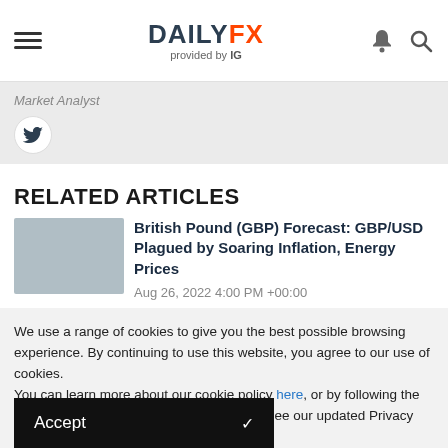DAILYFX provided by IG
Market Analyst
RELATED ARTICLES
British Pound (GBP) Forecast: GBP/USD Plagued by Soaring Inflation, Energy Prices
Aug 26, 2022 4:00 PM +00:00
We use a range of cookies to give you the best possible browsing experience. By continuing to use this website, you agree to our use of cookies.
You can learn more about our cookie policy here, or by following the link at the bottom of any page on our site. See our updated Privacy Policy here.